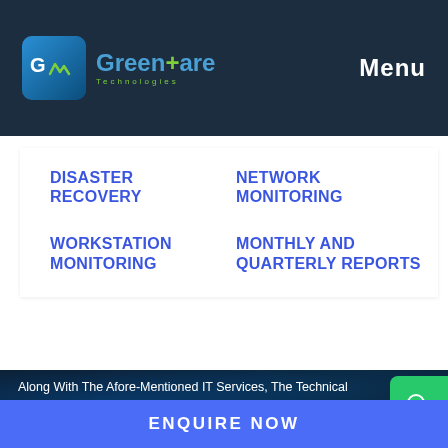Greenare Technologies | Menu
DISASTER RECOVERY
NETWORK MONITORING
WORKSTATION MONITORING
MONTHLY AND QUARTERLY REPORTS
Along With The Afore-Mentioned IT Services, The Technical Services Such As The Outsourcing Of IT Services And Annual Maintenance Contract Will Away All The Problems That Your
ENQUIRE NOW